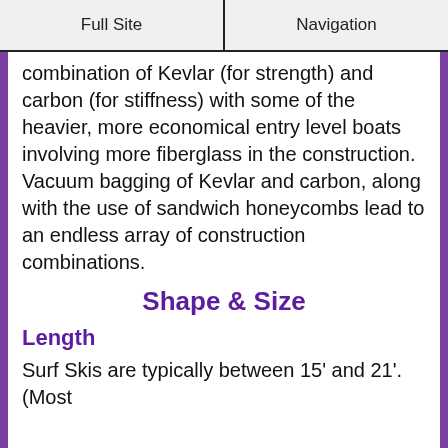Full Site | Navigation
combination of Kevlar (for strength) and carbon (for stiffness) with some of the heavier, more economical entry level boats involving more fiberglass in the construction. Vacuum bagging of Kevlar and carbon, along with the use of sandwich honeycombs lead to an endless array of construction combinations.
Shape & Size
Length
Surf Skis are typically between 15' and 21'. (Most